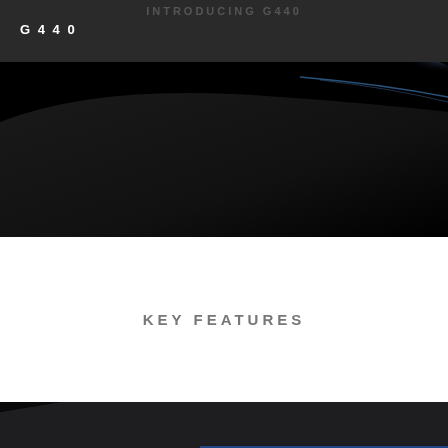INTRODUCING G440 / G440
[Figure (photo): Dark studio photo of Logitech G440 hard gaming mouse pad, top portion showing the dark surface and a slight blue/silver reflection in the upper right corner against black background.]
KEY FEATURES
[Figure (photo): Dark studio photo of Logitech G440 hard gaming mouse pad, bottom portion showing the pad corner with the Logitech G logo (white) in the bottom right area and a blue edge stripe, all against a black background.]